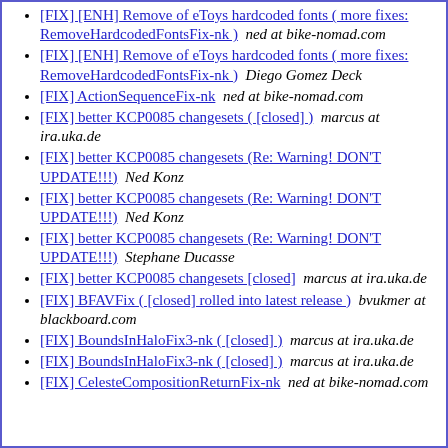[FIX] [ENH] Remove of eToys hardcoded fonts ( more fixes: RemoveHardcodedFontsFix-nk )  ned at bike-nomad.com
[FIX] [ENH] Remove of eToys hardcoded fonts ( more fixes: RemoveHardcodedFontsFix-nk )  Diego Gomez Deck
[FIX] ActionSequenceFix-nk  ned at bike-nomad.com
[FIX] better KCP0085 changesets ( [closed] )  marcus at ira.uka.de
[FIX] better KCP0085 changesets (Re: Warning! DON'T UPDATE!!!)  Ned Konz
[FIX] better KCP0085 changesets (Re: Warning! DON'T UPDATE!!!)  Ned Konz
[FIX] better KCP0085 changesets (Re: Warning! DON'T UPDATE!!!)  Stephane Ducasse
[FIX] better KCP0085 changesets [closed]  marcus at ira.uka.de
[FIX] BFAVFix ( [closed] rolled into latest release )  bvukmer at blackboard.com
[FIX] BoundsInHaloFix3-nk ( [closed] )  marcus at ira.uka.de
[FIX] BoundsInHaloFix3-nk ( [closed] )  marcus at ira.uka.de
[FIX] CelesteCompositionReturnFix-nk  ned at bike-nomad.com